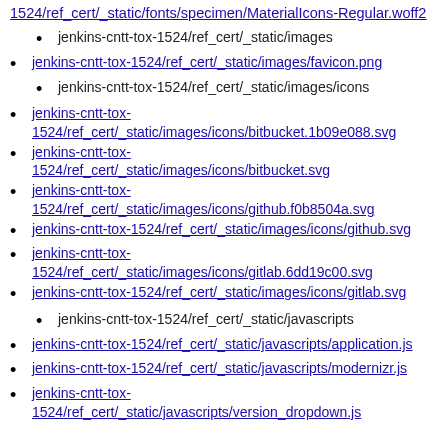1524/ref_cert/_static/fonts/specimen/MaterialIcons-Regular.woff2
jenkins-cntt-tox-1524/ref_cert/_static/images
jenkins-cntt-tox-1524/ref_cert/_static/images/favicon.png
jenkins-cntt-tox-1524/ref_cert/_static/images/icons
jenkins-cntt-tox-1524/ref_cert/_static/images/icons/bitbucket.1b09e088.svg
jenkins-cntt-tox-1524/ref_cert/_static/images/icons/bitbucket.svg
jenkins-cntt-tox-1524/ref_cert/_static/images/icons/github.f0b8504a.svg
jenkins-cntt-tox-1524/ref_cert/_static/images/icons/github.svg
jenkins-cntt-tox-1524/ref_cert/_static/images/icons/gitlab.6dd19c00.svg
jenkins-cntt-tox-1524/ref_cert/_static/images/icons/gitlab.svg
jenkins-cntt-tox-1524/ref_cert/_static/javascripts
jenkins-cntt-tox-1524/ref_cert/_static/javascripts/application.js
jenkins-cntt-tox-1524/ref_cert/_static/javascripts/modernizr.js
jenkins-cntt-tox-1524/ref_cert/_static/javascripts/version_dropdown.js